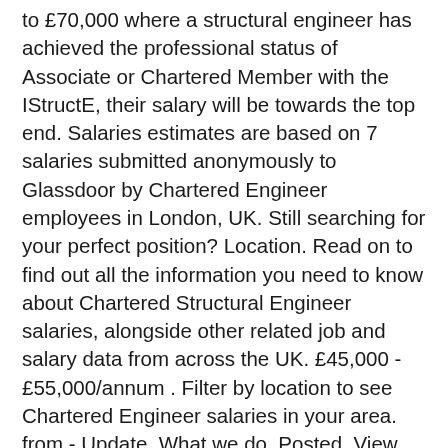to £70,000 where a structural engineer has achieved the professional status of Associate or Chartered Member with the IStructE, their salary will be towards the top end. Salaries estimates are based on 7 salaries submitted anonymously to Glassdoor by Chartered Engineer employees in London, UK. Still searching for your perfect position? Location. Read on to find out all the information you need to know about Chartered Structural Engineer salaries, alongside other related job and salary data from across the UK. £45,000 - £55,000/annum . Filter by location to see Chartered Engineer salaries in your area. from - Update. What we do. Posted. View details & apply for Chartered Structural Engineer job £50,000 - £57,000/annum Excellent Benefits Permanent in Newcastle upon Tyne, Tyne and Wear posted by Get-Recruited (UK) Ltd on Engineering Jobs - Ref: 212870833 Chartered engineers earn 30% more on average than Incorporated Engineers. The Engineering Council regulates professional engineering titles in the UK. Chartered Engineer; Chartered Engineer (CEng) Chartered Engineers (CEng) develop solutions to engineering